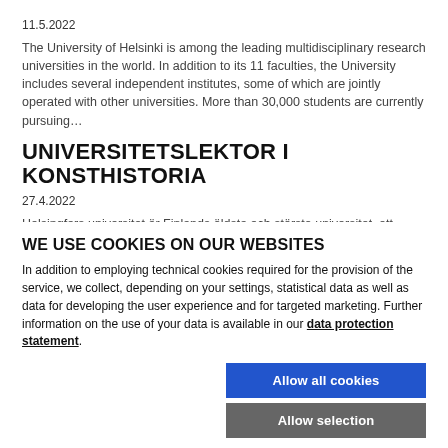11.5.2022
The University of Helsinki is among the leading multidisciplinary research universities in the world. In addition to its 11 faculties, the University includes several independent institutes, some of which are jointly operated with other universities. More than 30,000 students are currently pursuing…
UNIVERSITETSLEKTOR I KONSTHISTORIA
27.4.2022
Helsingfors universitet är Finlands äldsta och största universitet, ett internationellt universitet med sammanlagt 40 000 studenter och forskare. På de internationella rankinglistorna placerar sig Helsingfors universitet i regel bland de 100 bästa universiteten i världen. Helsingfors universitet…
WE USE COOKIES ON OUR WEBSITES
In addition to employing technical cookies required for the provision of the service, we collect, depending on your settings, statistical data as well as data for developing the user experience and for targeted marketing. Further information on the use of your data is available in our data protection statement.